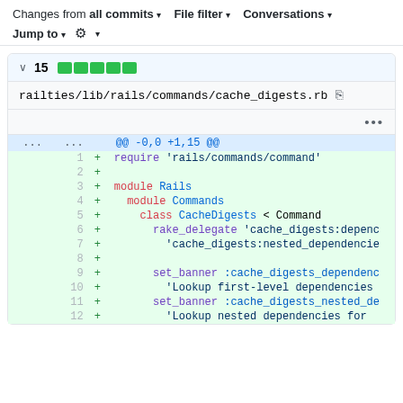Changes from all commits ▾   File filter ▾   Conversations ▾
Jump to ▾  ⚙ ▾
∨  15  ██████
railties/lib/rails/commands/cache_digests.rb
...
| old | new |  | diff |
| --- | --- | --- | --- |
| ... | ... |  | @@ -0,0 +1,15 @@ |
|  | 1 | + | require 'rails/commands/command' |
|  | 2 | + |  |
|  | 3 | + | module Rails |
|  | 4 | + |   module Commands |
|  | 5 | + |     class CacheDigests < Command |
|  | 6 | + |       rake_delegate 'cache_digests:depenc |
|  | 7 | + |         'cache_digests:nested_dependencie |
|  | 8 | + |  |
|  | 9 | + |       set_banner :cache_digests_dependenc |
|  | 10 | + |         'Lookup first-level dependencies |
|  | 11 | + |       set_banner :cache_digests_nested_de |
|  | 12 | + |         'Lookup nested dependencies for |